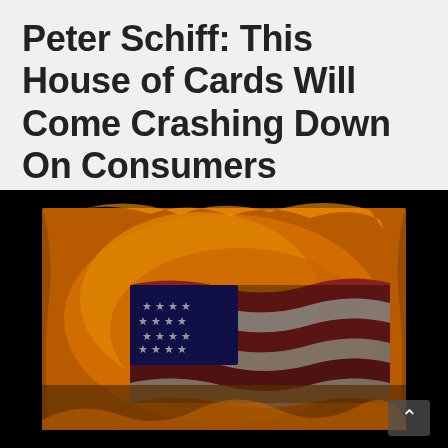Peter Schiff: This House of Cards Will Come Crashing Down On Consumers
By StevieRay Hansen | 0 💬
[Figure (photo): An American flag appearing to burn or be engulfed in flames with an orange and fiery background, set against a black border. The flag shows stars and stripes in a distorted, dramatic presentation.]